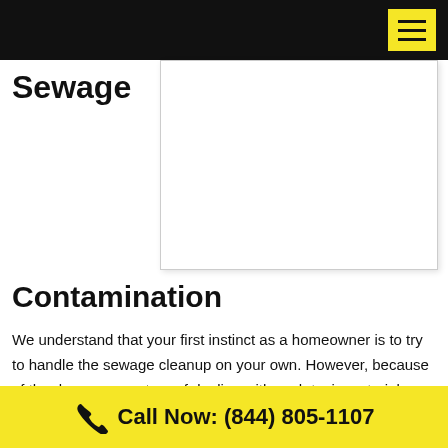Navigation header with menu button
Sewage
[Figure (photo): Blank white image placeholder associated with sewage content]
Contamination
We understand that your first instinct as a homeowner is to try to handle the sewage cleanup on your own. However, because of the dangerous nature of dealing with such toxic material, we do not recommend making
Call Now: (844) 805-1107